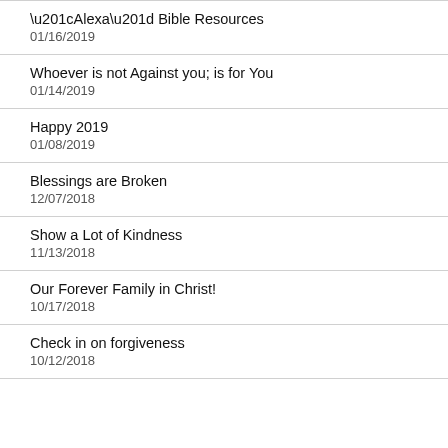“Alexa” Bible Resources
01/16/2019
Whoever is not Against you; is for You
01/14/2019
Happy 2019
01/08/2019
Blessings are Broken
12/07/2018
Show a Lot of Kindness
11/13/2018
Our Forever Family in Christ!
10/17/2018
Check in on forgiveness
10/12/2018